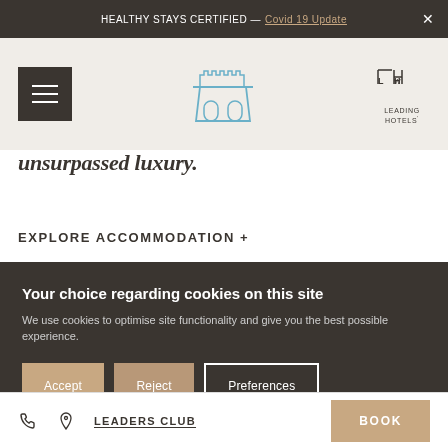HEALTHY STAYS CERTIFIED — Covid 19 Update ×
[Figure (logo): Hamburger menu icon (three horizontal lines on dark background), hotel building outline logo in blue/teal, and Leading Hotels of the World logo on the right]
unsurpassed luxury.
EXPLORE ACCOMMODATION +
Your choice regarding cookies on this site
We use cookies to optimise site functionality and give you the best possible experience.
Accept  Reject  Preferences
📞  📍  LEADERS CLUB    BOOK